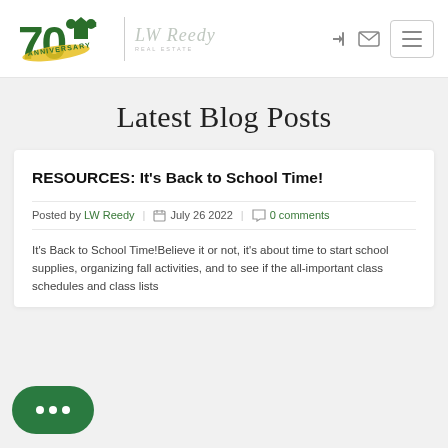LW Reedy Real Estate — Navigation bar with logo, icons, and hamburger menu
Latest Blog Posts
RESOURCES: It's Back to School Time!
Posted by LW Reedy  |  July 26 2022  |  0 comments
It's Back to School Time!Believe it or not, it's about time to start school supplies, organizing fall activities, and to see if the all-important class schedules and class lists